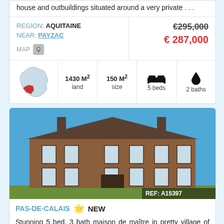house and outbuildings situated around a very private . . .
| REGION: AQUITAINE | €295,000 |
| NEAR: PAYZAC | € 287,000 |
| MAP |  |
| 1430 M² land | 150 M² size | 5 beds | 2 baths |
[Figure (photo): Large brick maison de maitre / manor house with two stories, multiple chimneys, French windows, situated in a village. Blue sky background.]
REF: A15397
PAS-DE-CALAIS 🌟 NEW
Stunning 5 bed, 3 bath maison de maître in pretty village of the 7 valleys .